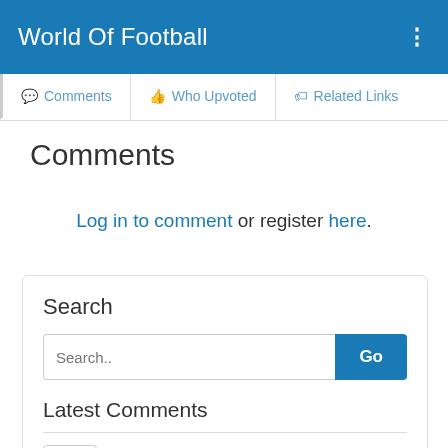World Of Football
Comments | Who Upvoted | Related Links
Comments
Log in to comment or register here.
Search
Search..  Go
Latest Comments
"Nice..."
"Good..."